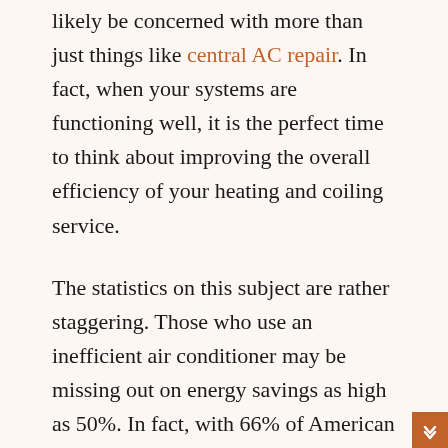likely be concerned with more than just things like central AC repair. In fact, when your systems are functioning well, it is the perfect time to think about improving the overall efficiency of your heating and coiling service.
The statistics on this subject are rather staggering. Those who use an inefficient air conditioner may be missing out on energy savings as high as 50%. In fact, with 66% of American homes equipped with central air conditioning, this is an especially serious issue. When it comes to heating, the typical U.S. residence, loses 9,00 gallons of water while those living there are waiting for the water to heat to